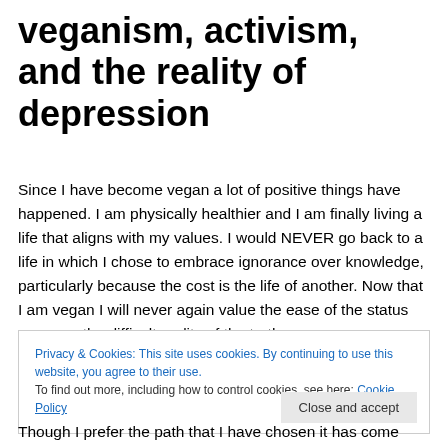veganism, activism, and the reality of depression
Since I have become vegan a lot of positive things have happened. I am physically healthier and I am finally living a life that aligns with my values. I would NEVER go back to a life in which I chose to embrace ignorance over knowledge, particularly because the cost is the life of another. Now that I am vegan I will never again value the ease of the status quo over the difficult reality of the truth.
Privacy & Cookies: This site uses cookies. By continuing to use this website, you agree to their use.
To find out more, including how to control cookies, see here: Cookie Policy
Though I prefer the path that I have chosen it has come